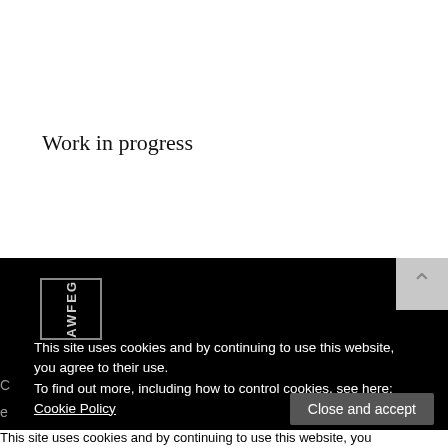Work in progress
[Figure (logo): AWFEG logo — rotated text inside a rectangle on black background]
This site uses cookies and by continuing to use this website, you agree to their use.
To find out more, including how to control cookies, see here: Cookie Policy
Close and accept
This site uses cookies and by continuing to use this website, you